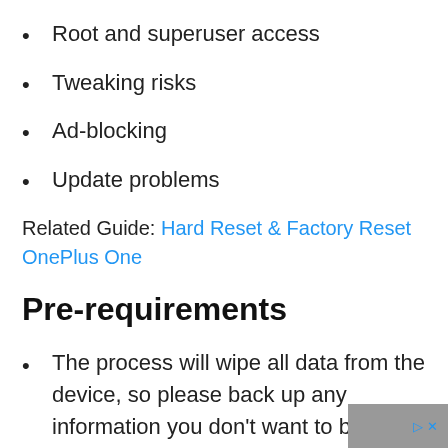Root and superuser access
Tweaking risks
Ad-blocking
Update problems
Related Guide: Hard Reset & Factory Reset OnePlus One
Pre-requirements
The process will wipe all data from the device, so please back up any information you don't want to be lost